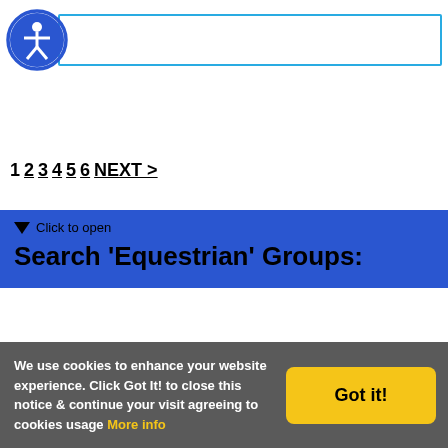[Figure (screenshot): Accessibility icon (circle with human figure) and a search input box with cyan/light-blue border]
1 2 3 4 5 6 NEXT >
▼ Click to open
Search 'Equestrian' Groups:
We use cookies to enhance your website experience. Click Got It! to close this notice & continue your visit agreeing to cookies usage More info